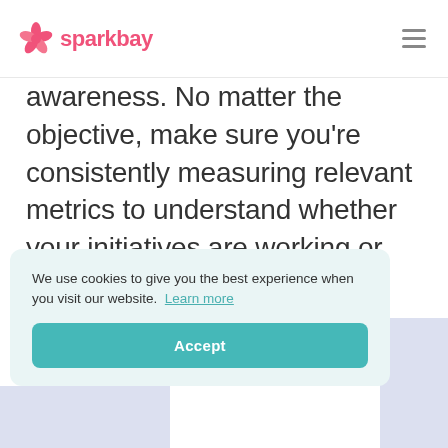sparkbay
awareness. No matter the objective, make sure you're consistently measuring relevant metrics to understand whether your initiatives are working or not.
We use cookies to give you the best experience when you visit our website. Learn more
Accept